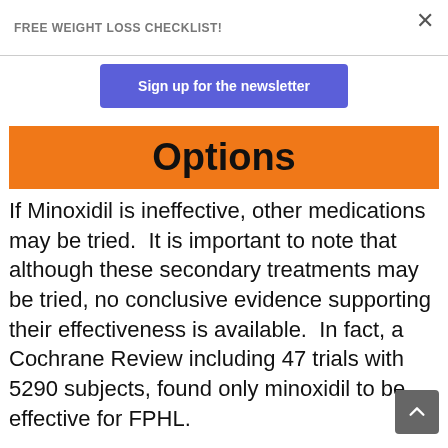FREE WEIGHT LOSS CHECKLIST!
Sign up for the newsletter
Options
If Minoxidil is ineffective, other medications may be tried.  It is important to note that although these secondary treatments may be tried, no conclusive evidence supporting their effectiveness is available.  In fact, a Cochrane Review including 47 trials with 5290 subjects, found only minoxidil to be effective for FPHL.